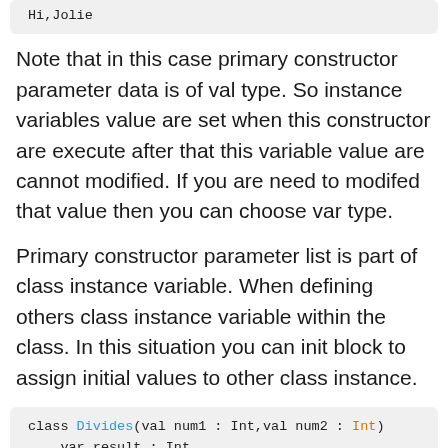[Figure (screenshot): Code snippet showing: Hi,Jolie]
Note that in this case primary constructor parameter data is of val type. So instance variables value are set when this constructor are execute after that this variable value are cannot modified. If you are need to modifed that value then you can choose var type.
Primary constructor parameter list is part of class instance variable. When defining others class instance variable within the class. In this situation you can init block to assign initial values to other class instance.
[Figure (screenshot): Code snippet: class Divides(val num1 : Int,val num2 : Int) var result : Int ...]